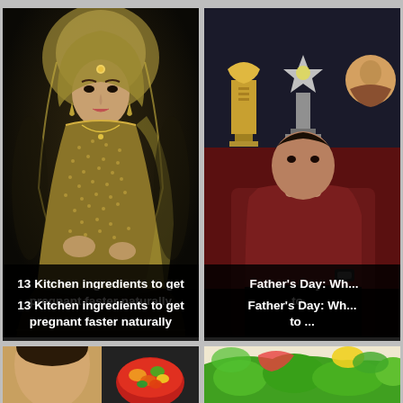[Figure (photo): Woman wearing golden bridal outfit with dupatta on runway]
13 Kitchen ingredients to get pregnant faster naturally
[Figure (photo): Award trophies and a man in maroon shirt seated, Father's Day related article]
Father's Day: Why to...
[Figure (photo): Partial view of a woman's face and a bowl of vegetable salad]
[Figure (photo): Green vegetables and produce]